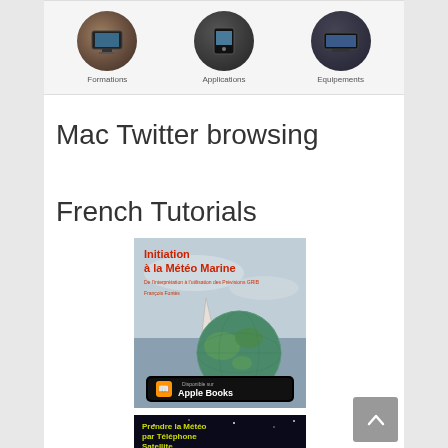[Figure (illustration): Row of three circular photo icons labeled Formations, Applications, Equipements]
Mac Twitter browsing
French Tutorials
[Figure (photo): Book cover: Initiation à la Météo Marine - with Apple Books badge, by François Fontès]
[Figure (photo): Book cover: Prendre la Météo par Téléphone Satellite - MacBook, iPad, iPhone]